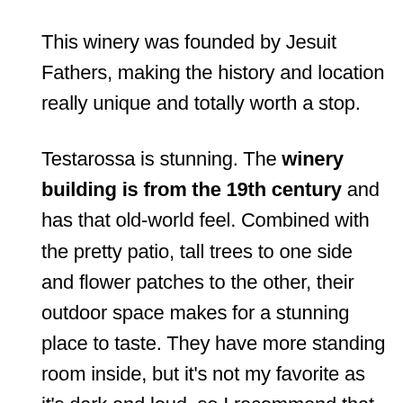This winery was founded by Jesuit Fathers, making the history and location really unique and totally worth a stop.
Testarossa is stunning. The winery building is from the 19th century and has that old-world feel. Combined with the pretty patio, tall trees to one side and flower patches to the other, their outdoor space makes for a stunning place to taste. They have more standing room inside, but it’s not my favorite as it’s dark and loud, so I recommend that you grab a table outside.